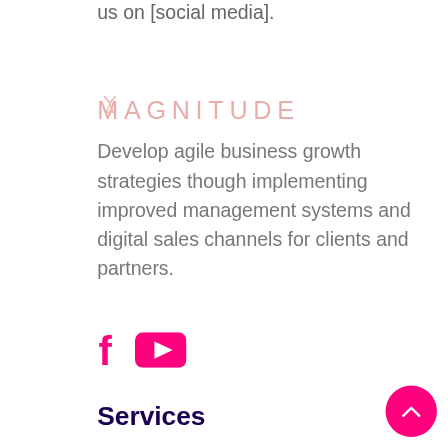us on [social media].
[Figure (logo): MAGNITUDE logo in pink/rose serif letters, stylized with geometric letterforms]
Develop agile business growth strategies though implementing improved management systems and digital sales channels for clients and partners.
[Figure (illustration): Social media icons: Facebook (f) in pink and YouTube button in pink]
Services
Management
Multimedia
Marketing